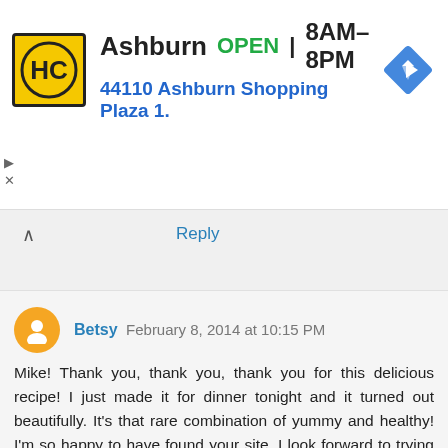[Figure (screenshot): Advertisement banner: HC logo (yellow), Ashburn OPEN 8AM–8PM, 44110 Ashburn Shopping Plaza 1., navigation arrow icon]
Reply
Betsy February 8, 2014 at 10:15 PM
Mike! Thank you, thank you, thank you for this delicious recipe! I just made it for dinner tonight and it turned out beautifully. It's that rare combination of yummy and healthy! I'm so happy to have found your site. I look forward to trying many more of your wonderful recipes!
Reply
▾ Replies
Mike @TheIronYou February 11, 2014 at